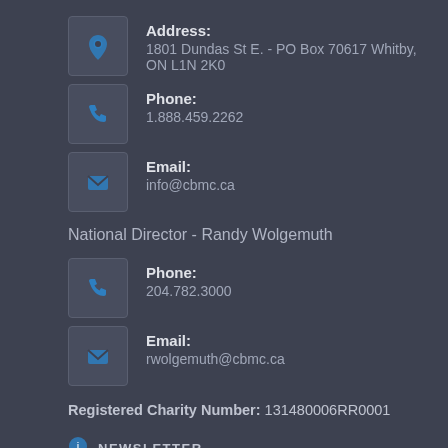Address:
1801 Dundas St E. - PO Box 70617 Whitby, ON L1N 2K0
Phone:
1.888.459.2262
Email:
info@cbmc.ca
National Director - Randy Wolgemuth
Phone:
204.782.3000
Email:
rwolgemuth@cbmc.ca
Registered Charity Number: 131480006RR0001
NEWSLETTER